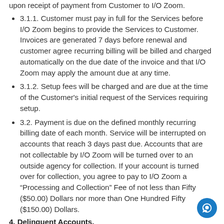upon receipt of payment from Customer to I/O Zoom.
3.1.1. Customer must pay in full for the Services before I/O Zoom begins to provide the Services to Customer. Invoices are generated 7 days before renewal and customer agree recurring billing will be billed and charged automatically on the due date of the invoice and that I/O Zoom may apply the amount due at any time.
3.1.2. Setup fees will be charged and are due at the time of the Customer's initial request of the Services requiring setup.
3.2. Payment is due on the defined monthly recurring billing date of each month. Service will be interrupted on accounts that reach 3 days past due. Accounts that are not collectable by I/O Zoom will be turned over to an outside agency for collection. If your account is turned over for collection, you agree to pay to I/O Zoom a "Processing and Collection" Fee of not less than Fifty ($50.00) Dollars nor more than One Hundred Fifty ($150.00) Dollars.
4. Delinquent Accounts.